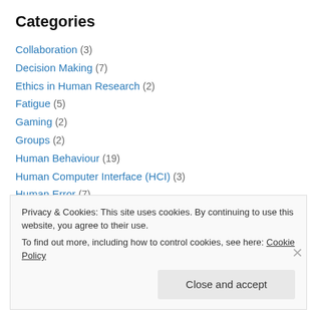Categories
Collaboration (3)
Decision Making (7)
Ethics in Human Research (2)
Fatigue (5)
Gaming (2)
Groups (2)
Human Behaviour (19)
Human Computer Interface (HCI) (3)
Human Error (7)
Human Factors (16)
Human Machine Interface (2)
Privacy & Cookies: This site uses cookies. By continuing to use this website, you agree to their use. To find out more, including how to control cookies, see here: Cookie Policy
Close and accept